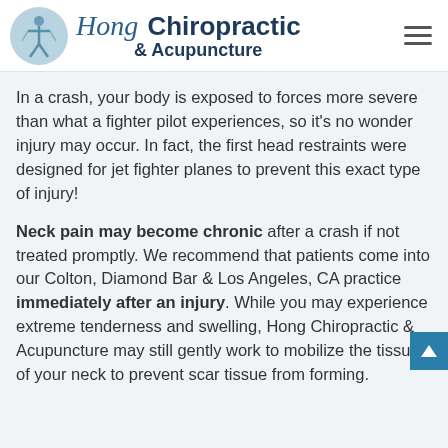Hong Chiropractic & Acupuncture
In a crash, your body is exposed to forces more severe than what a fighter pilot experiences, so it's no wonder injury may occur. In fact, the first head restraints were designed for jet fighter planes to prevent this exact type of injury!
Neck pain may become chronic after a crash if not treated promptly. We recommend that patients come into our Colton, Diamond Bar & Los Angeles, CA practice immediately after an injury. While you may experience extreme tenderness and swelling, Hong Chiropractic & Acupuncture may still gently work to mobilize the tissues of your neck to prevent scar tissue from forming.